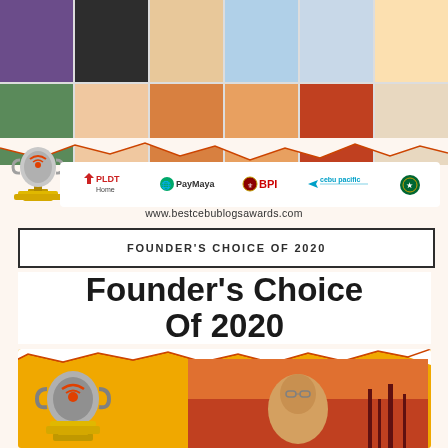[Figure (photo): Grid of blogger/influencer photos in banner at top of page, with sponsor logos (PLDT Home, PayMaya, BPI, Cebu Pacific, Starbucks) and website URL www.bestcebublogsawards.com]
FOUNDER'S CHOICE OF 2020
Founder's Choice Of 2020
[Figure (photo): Bottom section with golden/orange background showing award trophy illustration on the left and a person's photo on the right against a sunset/industrial background]